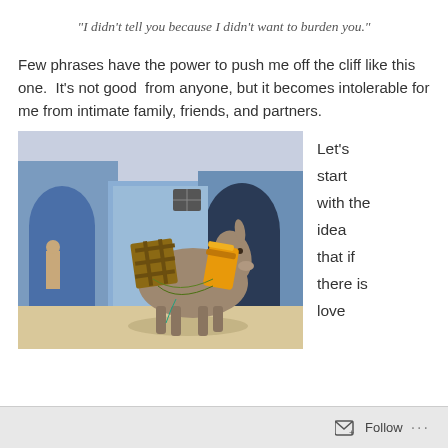“I didn’t tell you because I didn’t want to burden you.”
Few phrases have the power to push me off the cliff like this one.  It’s not good  from anyone, but it becomes intolerable for me from intimate family, friends, and partners.
[Figure (photo): A donkey carrying heavy loads of crates and canisters on its back, standing in a blue-painted alleyway with arched doorways. A child is visible in the background near a doorway.]
Let’s start with the idea that if there is love
Follow …